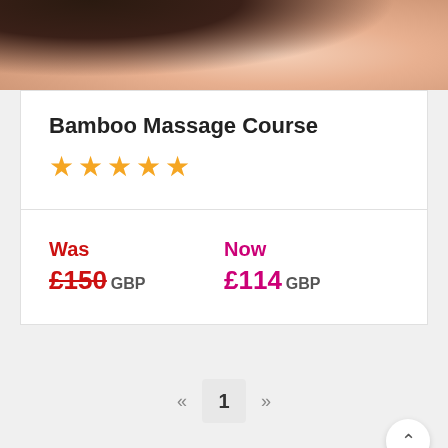[Figure (photo): Close-up photo of a woman's face resting peacefully, appearing to be receiving a massage, with soft skin tones and dark hair visible.]
Bamboo Massage Course
★★★★★ (five stars rating)
Was £150 GBP  Now £114 GBP
« 1 »